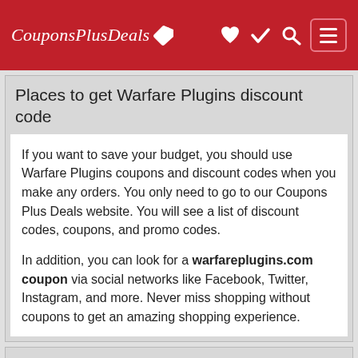CouponsPlusDeals
Places to get Warfare Plugins discount code
If you want to save your budget, you should use Warfare Plugins coupons and discount codes when you make any orders. You only need to go to our Coupons Plus Deals website. You will see a list of discount codes, coupons, and promo codes.
In addition, you can look for a warfareplugins.com coupon via social networks like Facebook, Twitter, Instagram, and more. Never miss shopping without coupons to get an amazing shopping experience.
Best WordPress plugins for content creators
You get in stuck with common problem WordPress and you want to find solutions for these problems?
You are looking for content creation tools for WordPress?